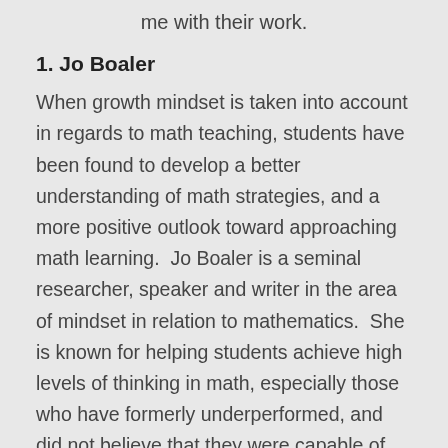me with their work.
1. Jo Boaler
When growth mindset is taken into account in regards to math teaching, students have been found to develop a better understanding of math strategies, and a more positive outlook toward approaching math learning.  Jo Boaler is a seminal researcher, speaker and writer in the area of mindset in relation to mathematics.  She is known for helping students achieve high levels of thinking in math, especially those who have formerly underperformed, and did not believe that they were capable of math achievement.  She has run math camps for students, and contributes to a website (youcubed.org) containing activities and courses for students and teachers to use to improve the way they think about and approach math (Boaler, 2015). “In Mathematical